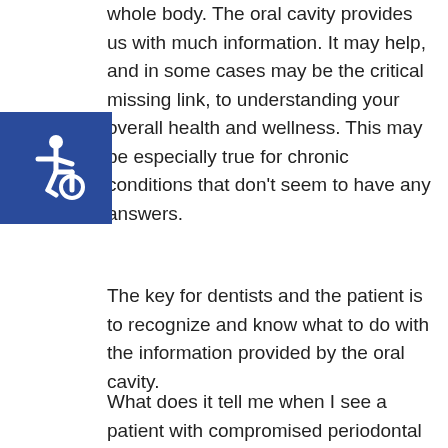whole body. The oral cavity provides us with much information. It may help, and in some cases may be the critical missing link, to understanding your overall health and wellness. This may be especially true for chronic conditions that don't seem to have any answers.
[Figure (illustration): Accessibility icon — white wheelchair symbol on blue square background]
The key for dentists and the patient is to recognize and know what to do with the information provided by the oral cavity.
What does it tell me when I see a patient with compromised periodontal conditions, tooth decay and generalized inflammation? Conventional wisdom says the dentist should treat this as a local condition which typically means more frequent dental visits, improved home care techniques i.e., better flossing and brushing of your teeth, usually some antibiotics, root plane and scaling, and sometimes even surgical procedures.
I believe these are all symptoms of a systemic condition.